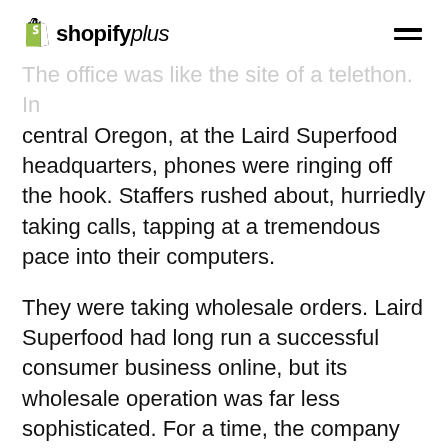shopify plus
The office was like the site of a telethon. In central Oregon, at the Laird Superfood headquarters, phones were ringing off the hook. Staffers rushed about, hurriedly taking calls, tapping at a tremendous pace into their computers.
They were taking wholesale orders. Laird Superfood had long run a successful consumer business online, but its wholesale operation was far less sophisticated. For a time, the company could only accept wholesale orders by phone or email.